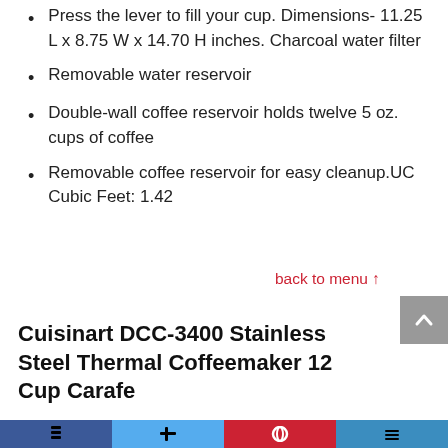Press the lever to fill your cup. Dimensions- 11.25 L x 8.75 W x 14.70 H inches. Charcoal water filter
Removable water reservoir
Double-wall coffee reservoir holds twelve 5 oz. cups of coffee
Removable coffee reservoir for easy cleanup.UC Cubic Feet: 1.42
back to menu ↑
Cuisinart DCC-3400 Stainless Steel Thermal Coffeemaker 12 Cup Carafe
Social media sharing bar (Facebook, Twitter, Pinterest, other)